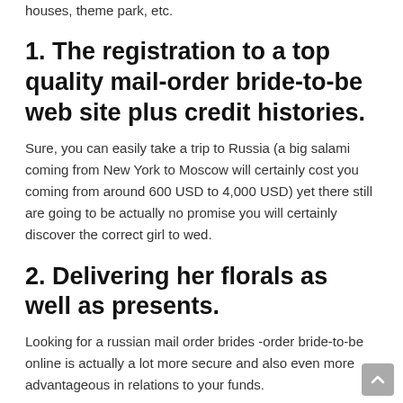houses, theme park, etc.
1. The registration to a top quality mail-order bride-to-be web site plus credit histories.
Sure, you can easily take a trip to Russia (a big salami coming from New York to Moscow will certainly cost you coming from around 600 USD to 4,000 USD) yet there still are going to be actually no promise you will certainly discover the correct girl to wed.
2. Delivering her florals as well as presents.
Looking for a russian mail order brides -order bride-to-be online is actually a lot more secure and also even more advantageous in relations to your funds.
3. Taking place an offline time